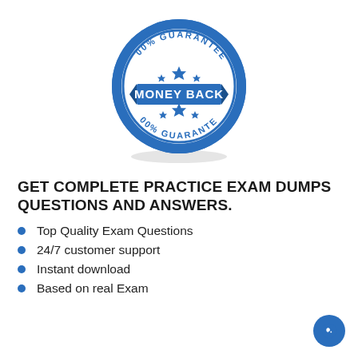[Figure (logo): Blue circular badge/seal with serrated edge, text '100% GUARANTEE' on top arc and '100% GUARANTEE' on bottom arc, three stars at top and one large star with two smaller stars below, blue banner in middle reading 'MONEY BACK' in white bold text.]
GET COMPLETE PRACTICE EXAM DUMPS QUESTIONS AND ANSWERS.
Top Quality Exam Questions
24/7 customer support
Instant download
Based on real Exam